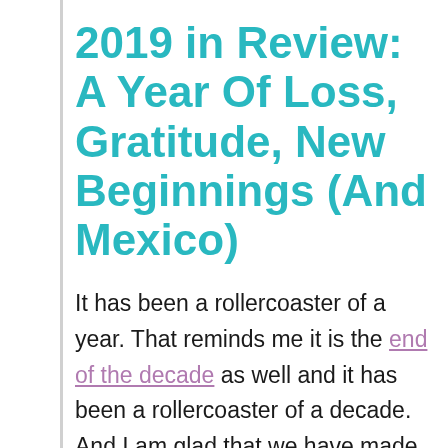2019 in Review: A Year Of Loss, Gratitude, New Beginnings (And Mexico)
It has been a rollercoaster of a year. That reminds me it is the end of the decade as well and it has been a rollercoaster of a decade. And I am glad that we have made it stronger after this decade as a